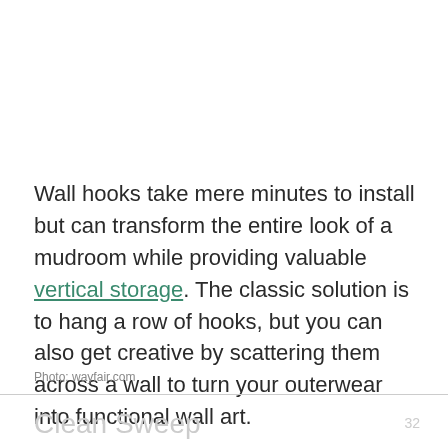Wall hooks take mere minutes to install but can transform the entire look of a mudroom while providing valuable vertical storage. The classic solution is to hang a row of hooks, but you can also get creative by scattering them across a wall to turn your outerwear into functional wall art.
Photo: wayfair.com
Clean Sweep
32